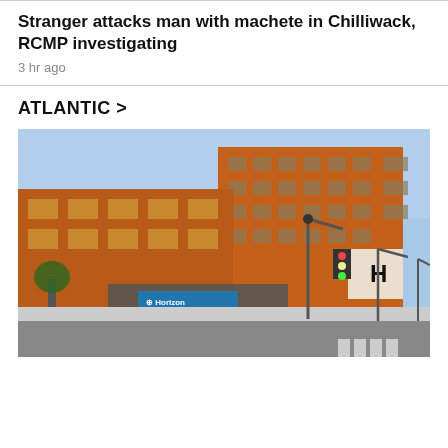Stranger attacks man with machete in Chilliwack, RCMP investigating
3 hr ago
ATLANTIC >
[Figure (photo): Exterior photo of a multi-storey red brick hospital building (Horizon Health Network) at street level, with traffic lights, street lamps, and a crosswalk visible, taken during golden hour lighting.]